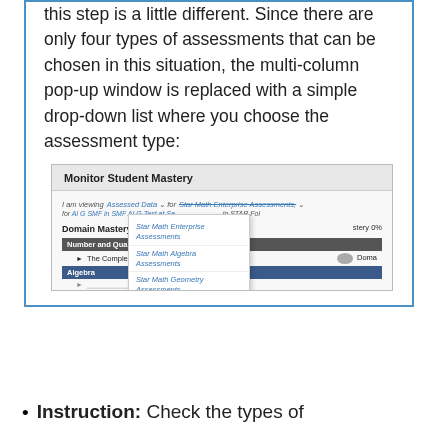this step is a little different. Since there are only four types of assessments that can be chosen in this situation, the multi-column pop-up window is replaced with a simple drop-down list where you choose the assessment type:
[Figure (screenshot): Monitor Student Mastery dialog showing a drop-down list with four Star Math assessment types: Star Math Enterprise Assessments, Star Math Algebra Assessments, Star Math Geometry Assessments, Star Math Progress Monitoring Assessments. The dialog shows Domain Mastery Percentage table with Number and Quantity and Algebra rows.]
Instruction: Check the types of